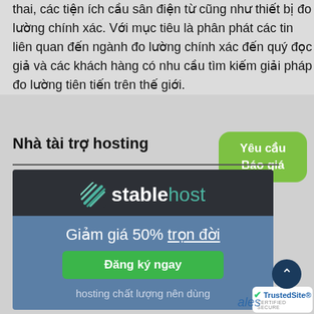thai, các tiện ích cầu sân điện từ cũng như thiết bị đo lường chính xác. Với mục tiêu là phân phát các tin liên quan đến ngành đo lường chính xác đến quý đọc giả và các khách hàng có nhu cầu tìm kiếm giải pháp đo lường tiên tiến trên thế giới.
Nhà tài trợ hosting
[Figure (logo): StableHost logo on dark background with green/teal striped icon]
Giảm giá 50% trọn đời
Đăng ký ngay
hosting chất lượng nên dùng
[Figure (other): TrustedSite certified secure badge]
Yêu cầu Báo giá